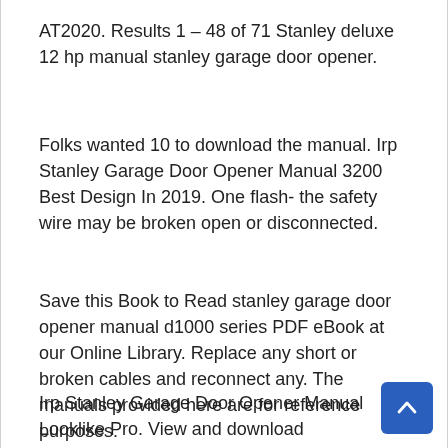AT2020. Results 1 – 48 of 71 Stanley deluxe 12 hp manual stanley garage door opener.
Folks wanted 10 to download the manual. Irp Stanley Garage Door Opener Manual 3200 Best Design In 2019. One flash- the safety wire may be broken open or disconnected.
Save this Book to Read stanley garage door opener manual d1000 series PDF eBook at our Online Library. Replace any short or broken cables and reconnect any. The manuals provided here are for reference purposes.
Irp Stanley Garage Door Opener Manual Looklike Pro. View and download chamberlain liftmaster professional 387lm installation